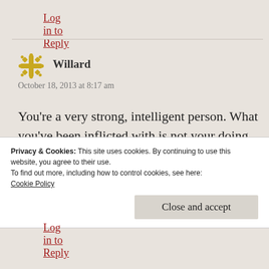Log in to Reply
Willard
October 18, 2013 at 8:17 am
You're a very strong, intelligent person. What you've been inflicted with is not your doing. I can't say that I understand what you are going through and have gone through your entire life. What I can say is that, for what it's worth,
Privacy & Cookies: This site uses cookies. By continuing to use this website, you agree to their use.
To find out more, including how to control cookies, see here:
Cookie Policy
Close and accept
Log in to Reply